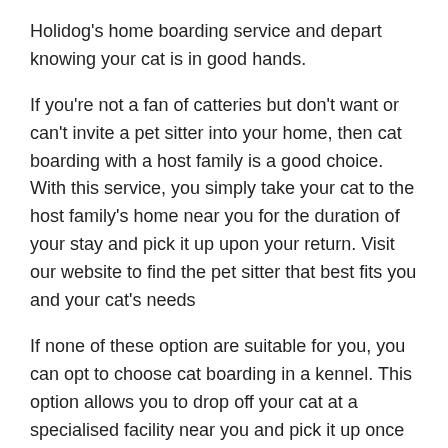Holidog's home boarding service and depart knowing your cat is in good hands.
If you're not a fan of catteries but don't want or can't invite a pet sitter into your home, then cat boarding with a host family is a good choice. With this service, you simply take your cat to the host family's home near you for the duration of your stay and pick it up upon your return. Visit our website to find the pet sitter that best fits you and your cat's needs
If none of these option are suitable for you, you can opt to choose cat boarding in a kennel. This option allows you to drop off your cat at a specialised facility near you and pick it up once you have returned. Keep in mind that some cats might not enjoy their stay for the simple reason that cats are territorial and generally don't support changes very well. If it's possible, finding a place for your cat without other animals is always a better option.